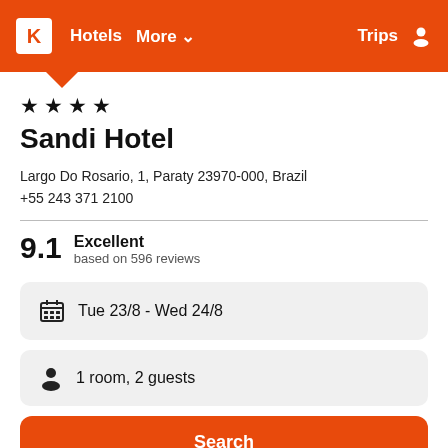K  Hotels  More  Trips
★ ★ ★ ★
Sandi Hotel
Largo Do Rosario, 1, Paraty 23970-000, Brazil
+55 243 371 2100
9.1  Excellent
based on 596 reviews
Tue 23/8  -  Wed 24/8
1 room, 2 guests
Search